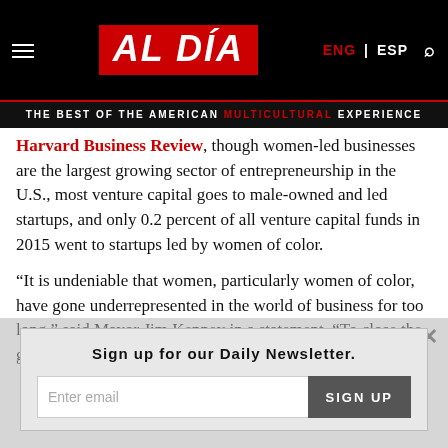AL DÍA | THE BEST OF THE AMERICAN MULTICULTURAL EXPERIENCE | ENG | ESP
Harvard Business Review, though women-led businesses are the largest growing sector of entrepreneurship in the U.S., most venture capital goes to male-owned and led startups, and only 0.2 percent of all venture capital funds in 2015 went to startups led by women of color.
“It is undeniable that women, particularly women of color, have gone underrepresented in the world of business for too long,” said Mayor Jim Kenney in a statement. “To close the gap that
Sign up for our Daily Newsletter.
Enter email | SIGN UP